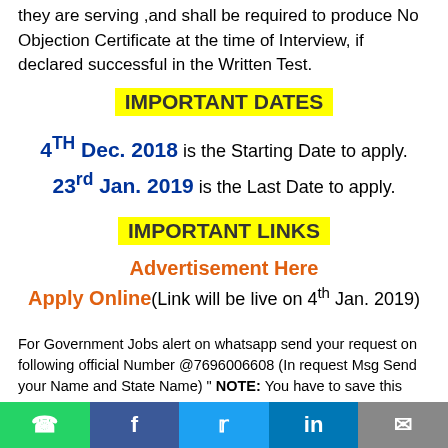they are serving ,and shall be required to produce No Objection Certificate at the time of Interview, if declared successful in the Written Test.
IMPORTANT DATES
4TH Dec. 2018 is the Starting Date to apply.
23rd Jan. 2019 is the Last Date to apply.
IMPORTANT LINKS
Advertisement Here
Apply Online(Link will be live on 4th Jan. 2019)
For Government Jobs alert on whatsapp send your request on following official Number @7696006608 (In request Msg Send your Name and State Name) " NOTE: You have to save this Contact Number in your contact list to get important Govt job alerts on whatsapp
[Figure (other): Social media sharing bar with WhatsApp, Facebook, Twitter, LinkedIn, and Email icons]